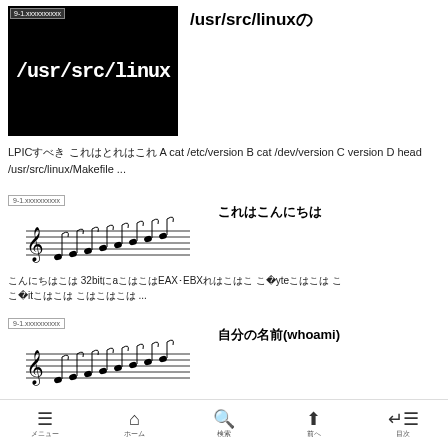[Figure (screenshot): Terminal screenshot showing /usr/src/linux text in white on black background, with label '9-1.xxxxxxxxxx' at top left]
/usr/src/linuxの
LPICxxxxxxxxxx xxxxxxxxxxxxxxxxxxxx A cat /etc/version B cat /dev/version C version D head /usr/src/linux/Makefile ...
[Figure (illustration): Music staff with notes, labeled '9-1.xxxxxxxxxx']
xxxxxxxxxxxxxxx
xxxxxxxxxxxxxxxxxx 32bitxxx axxxxxxxxxxEAXxEBXxxxxxxxxxx xxx1Bytexxxxxxxx x xxxx8bitxxxxxxxx xxxxxxxxxx ...
[Figure (illustration): Music staff with notes, labeled '9-1.xxxxxxxxxx']
xxxx(whoami)
メニュー　ホーム　検索　前へ　目次